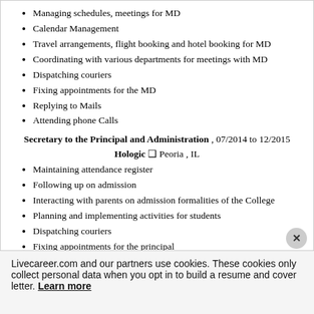Managing schedules, meetings for MD
Calendar Management
Travel arrangements, flight booking and hotel booking for MD
Coordinating with various departments for meetings with MD
Dispatching couriers
Fixing appointments for the MD
Replying to Mails
Attending phone Calls
Secretary to the Principal and Administration , 07/2014 to 12/2015
Hologic ❑ Peoria , IL
Maintaining attendance register
Following up on admission
Interacting with parents on admission formalities of the College
Planning and implementing activities for students
Dispatching couriers
Fixing appointments for the principal
Replying to Mails
Attending phone Calls
Greet guests
Executive Secretary to the Editor, 10/2012 to 06/2014
The Breakers Palm Beach Inc ❑ Palm Beach , FL
Livecareer.com and our partners use cookies. These cookies only collect personal data when you opt in to build a resume and cover letter. Learn more